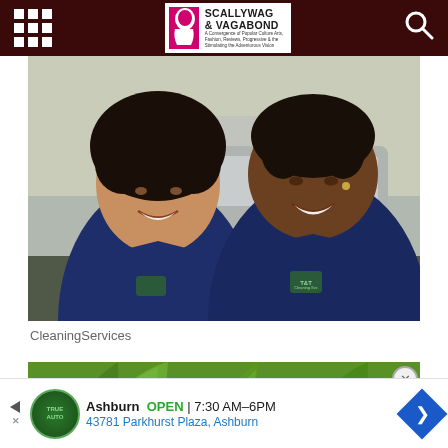Scallywag & Vagabond — navigation header with logo and search icon
[Figure (photo): Two women in navy blue polo shirts with logo patches smiling in front of a car, presumably cleaning service workers, outdoors in daylight]
CleaningServices
[Figure (photo): Green plant/aloe vera background image, partially visible below the main photo, with a close (X) button overlay]
Ashburn  OPEN  7:30 AM–6PM
43781 Parkhurst Plaza, Ashburn